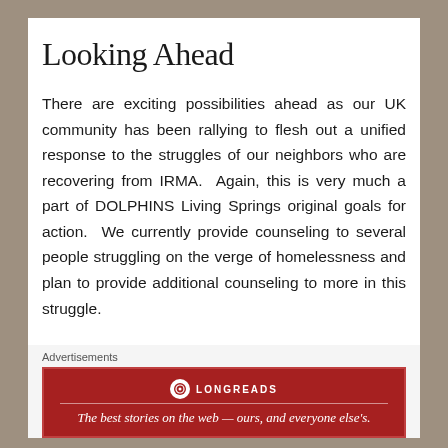Looking Ahead
There are exciting possibilities ahead as our UK community has been rallying to flesh out a unified response to the struggles of our neighbors who are recovering from IRMA.  Again, this is very much a part of DOLPHINS Living Springs original goals for action.  We currently provide counseling to several people struggling on the verge of homelessness and plan to provide additional counseling to more in this struggle.
Our clientele for Living Springs Counseling continues to increase simply by word of mouth as our reputation throughout the community continues to solidify.  Our media sources are very
Advertisements
[Figure (other): Longreads advertisement banner: red background with Longreads logo and tagline 'The best stories on the web — ours, and everyone else's.']